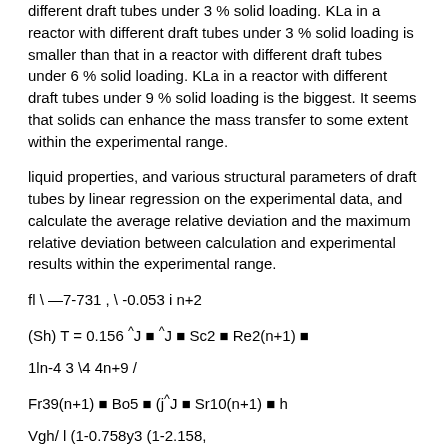different draft tubes under 3 % solid loading. KLa in a reactor with different draft tubes under 3 % solid loading is smaller than that in a reactor with different draft tubes under 6 % solid loading. KLa in a reactor with different draft tubes under 9 % solid loading is the biggest. It seems that solids can enhance the mass transfer to some extent within the experimental range.
liquid properties, and various structural parameters of draft tubes by linear regression on the experimental data, and calculate the average relative deviation and the maximum relative deviation between calculation and experimental results within the experimental range.